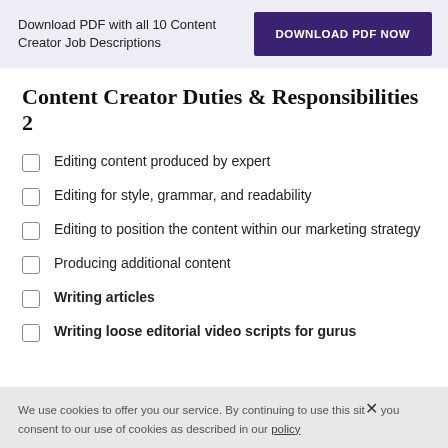Download PDF with all 10 Content Creator Job Descriptions
DOWNLOAD PDF NOW
Content Creator Duties & Responsibilities 2
Editing content produced by expert
Editing for style, grammar, and readability
Editing to position the content within our marketing strategy
Producing additional content
Writing articles
Writing loose editorial video scripts for gurus
We use cookies to offer you our service. By continuing to use this site you consent to our use of cookies as described in our policy